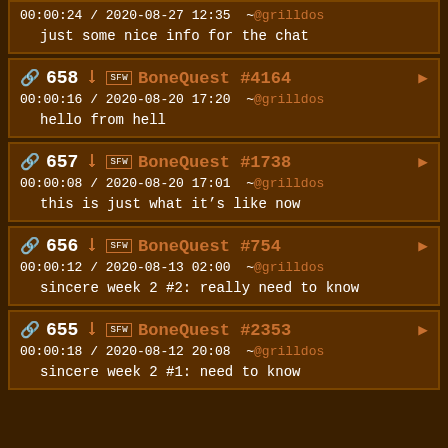00:00:24 / 2020-08-27 12:35 ~@grilldos
    just some nice info for the chat
658  SFW  BoneQuest #4164
00:00:16 / 2020-08-20 17:20  ~@grilldos
    hello from hell
657  SFW  BoneQuest #1738
00:00:08 / 2020-08-20 17:01  ~@grilldos
    this is just what it’s like now
656  SFW  BoneQuest #754
00:00:12 / 2020-08-13 02:00  ~@grilldos
    sincere week 2 #2: really need to know
655  SFW  BoneQuest #2353
00:00:18 / 2020-08-12 20:08  ~@grilldos
    sincere week 2 #1: need to know